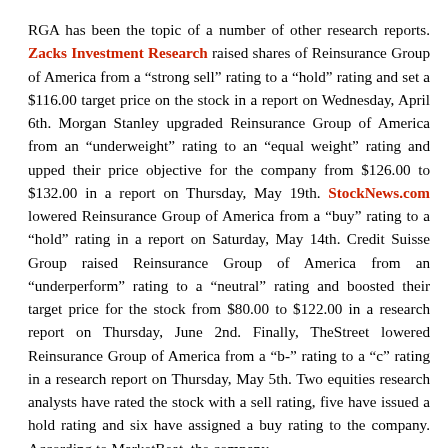RGA has been the topic of a number of other research reports. Zacks Investment Research raised shares of Reinsurance Group of America from a “strong sell” rating to a “hold” rating and set a $116.00 target price on the stock in a report on Wednesday, April 6th. Morgan Stanley upgraded Reinsurance Group of America from an “underweight” rating to an “equal weight” rating and upped their price objective for the company from $126.00 to $132.00 in a report on Thursday, May 19th. StockNews.com lowered Reinsurance Group of America from a “buy” rating to a “hold” rating in a report on Saturday, May 14th. Credit Suisse Group raised Reinsurance Group of America from an “underperform” rating to a “neutral” rating and boosted their target price for the stock from $80.00 to $122.00 in a research report on Thursday, June 2nd. Finally, TheStreet lowered Reinsurance Group of America from a “b-” rating to a “c” rating in a research report on Thursday, May 5th. Two equities research analysts have rated the stock with a sell rating, five have issued a hold rating and six have assigned a buy rating to the company. According to MarketBeat, the company